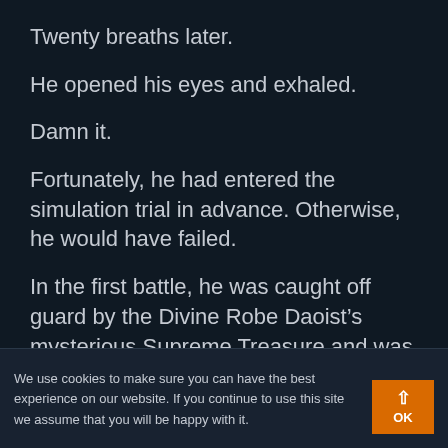Twenty breaths later.
He opened his eyes and exhaled.
Damn it.
Fortunately, he had entered the simulation trial in advance. Otherwise, he would have failed.
In the first battle, he was caught off guard by the Divine Robe Daoist’s mysterious Supreme Treasure and was severely injured. He couldn’t
We use cookies to make sure you can have the best experience on our website. If you continue to use this site we assume that you will be happy with it.